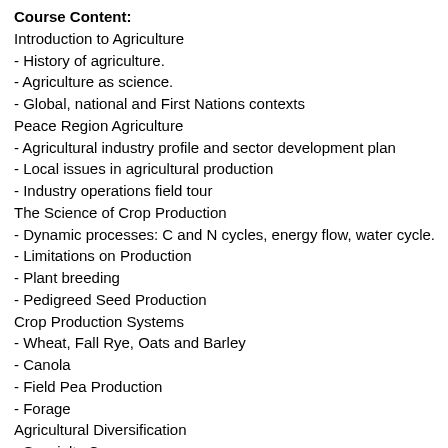Course Content:
Introduction to Agriculture
- History of agriculture.
- Agriculture as science.
- Global, national and First Nations contexts
Peace Region Agriculture
- Agricultural industry profile and sector development plan
- Local issues in agricultural production
- Industry operations field tour
The Science of Crop Production
- Dynamic processes: C and N cycles, energy flow, water cycle.
- Limitations on Production
- Plant breeding
- Pedigreed Seed Production
Crop Production Systems
- Wheat, Fall Rye, Oats and Barley
- Canola
- Field Pea Production
- Forage
Agricultural Diversification
- Specialty Crops
- Specialty Animals